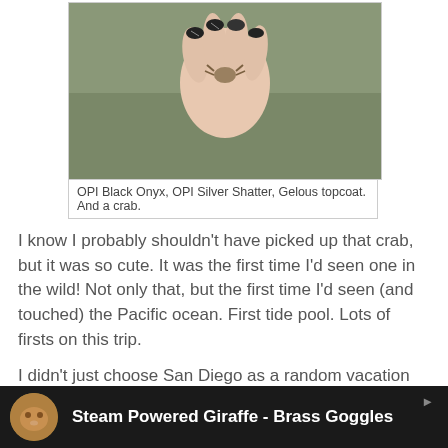[Figure (photo): A hand with decorated nails (black and crackle pattern) holding a small crab, over a sandy/rocky background.]
OPI Black Onyx, OPI Silver Shatter, Gelous topcoat.  And a crab.
I know I probably shouldn't have picked up that crab, but it was so cute.  It was the first time I'd seen one in the wild!  Not only that, but the first time I'd seen (and touched) the Pacific ocean.  First tide pool.  Lots of firsts on this trip.
I didn't just choose San Diego as a random vacation destination, though.  At least one part of my trip was planned.  That part was this:
[Figure (screenshot): Embedded video thumbnail bar for 'Steam Powered Giraffe - Brass Goggles' with a cat avatar icon on dark background.]